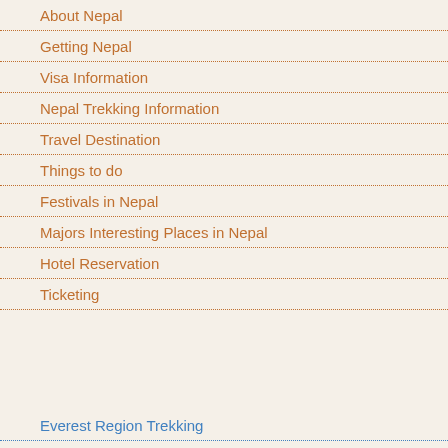About Nepal
Getting Nepal
Visa Information
Nepal Trekking Information
Travel Destination
Things to do
Festivals in Nepal
Majors Interesting Places in Nepal
Hotel Reservation
Ticketing
Everest Region Trekking
Annapurna Region Trekking
Langtang Region Trekking
|  |  |
| --- | --- |
|  | Arughat by bus. |
| Accommodation: | 4 Nights in Kathmandu lodge. |
| Trekking grade: | Challenge & Ha... |
| Max. Altitude: | 5,213m. Lharke p... |
| Best season in Nepal: | Mar, Apr, May, Se... |
| Mode of Trekking: | Camping |
| Group Size: | Min 02 PAX, Max... |
Detail Itinerary for Manalsu Circ...
| Days | Day to Day Activities |
| --- | --- |
| 01 | Arrival in Kathmandu
Flying to Kathmandu along the no... |